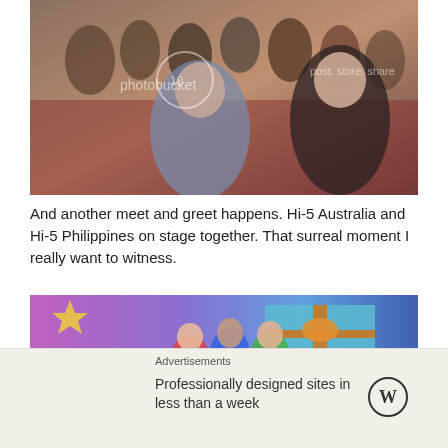[Figure (photo): A crowd at an event with a red carpet; a woman in a patterned dress takes a selfie while another woman in black stands nearby; many people visible in background at what appears to be a mall event. Photobucket watermark visible.]
And another meet and greet happens. Hi-5 Australia and Hi-5 Philippines on stage together. That surreal moment I really want to witness.
[Figure (photo): Group photo of Hi-5 performers in colorful costumes posing in front of a Christmas-themed backdrop with a large gift box. Photobucket watermark visible.]
Advertisements
Professionally designed sites in less than a week